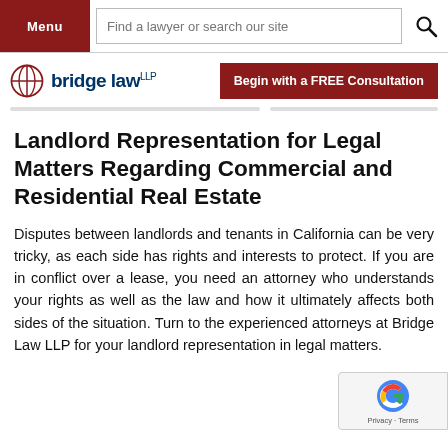Menu | Find a lawyer or search our site
[Figure (logo): Bridge Law LLP logo with circular compass/cross icon and dark blue text, alongside a dark red 'Begin with a FREE Consultation' button]
Landlord Representation for Legal Matters Regarding Commercial and Residential Real Estate
Disputes between landlords and tenants in California can be very tricky, as each side has rights and interests to protect. If you are in conflict over a lease, you need an attorney who understands your rights as well as the law and how it ultimately affects both sides of the situation. Turn to the experienced attorneys at Bridge Law LLP for your landlord representation in legal matters.